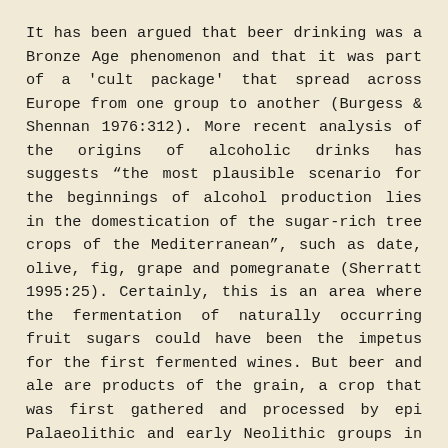It has been argued that beer drinking was a Bronze Age phenomenon and that it was part of a 'cult package' that spread across Europe from one group to another (Burgess & Shennan 1976:312). More recent analysis of the origins of alcoholic drinks has suggests "the most plausible scenario for the beginnings of alcohol production lies in the domestication of the sugar-rich tree crops of the Mediterranean", such as date, olive, fig, grape and pomegranate (Sherratt 1995:25). Certainly, this is an area where the fermentation of naturally occurring fruit sugars could have been the impetus for the first fermented wines. But beer and ale are products of the grain, a crop that was first gathered and processed by epi Palaeolithic and early Neolithic groups in the Levant and the Near East from the 9th millennium BC onwards.
Grain cultivation and grain processing eventually spread from the Near East and Levant across Europe reaching the British Isles c4000 BC. This research has covered a broad geographical and archaeological range. It has investigated the evidence of the earliest grain processing communities in